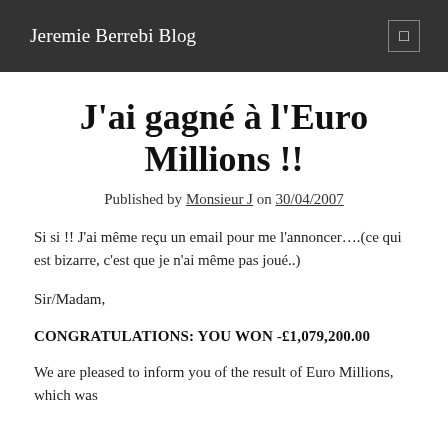Jeremie Berrebi Blog
J'ai gagné à l'Euro Millions !!
Published by Monsieur J on 30/04/2007
Si si !! J'ai même reçu un email pour me l'annoncer….(ce qui est bizarre, c'est que je n'ai même pas joué..)
Sir/Madam,
CONGRATULATIONS: YOU WON -£1,079,200.00
We are pleased to inform you of the result of Euro Millions, which was